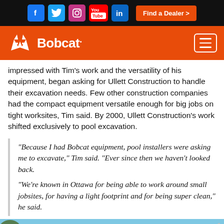Bobcat website header with social media icons (Facebook, Twitter, Instagram, YouTube, LinkedIn), Find a Dealer button, Bobcat logo, and hamburger menu
impressed with Tim's work and the versatility of his equipment, began asking for Ullett Construction to handle their excavation needs. Few other construction companies had the compact equipment versatile enough for big jobs on tight worksites, Tim said. By 2000, Ullett Construction's work shifted exclusively to pool excavation.
“Because I had Bobcat equipment, pool installers were asking me to excavate,” Tim said. “Ever since then we haven’t looked back.
“We’re known in Ottawa for being able to work around small jobsites, for having a light footprint and for being super clean,” he said.
[Figure (photo): Partial photo of a Bobcat machine or construction equipment against a blue sky background]